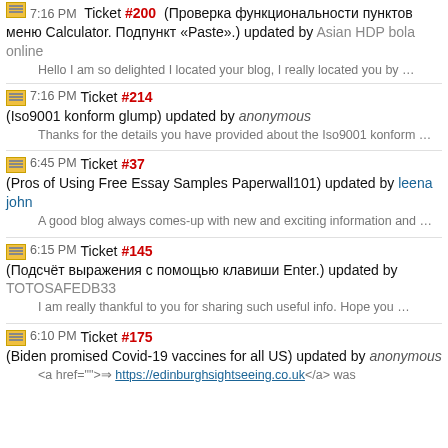7:16 PM Ticket #200 (Проверка функциональности пунктов меню Calculator. Подпункт «Paste».) updated by Asian HDP bola online
Hello I am so delighted I located your blog, I really located you by …
7:16 PM Ticket #214 (Iso9001 konform glump) updated by anonymous
Thanks for the details you have provided about the Iso9001 konform …
6:45 PM Ticket #37 (Pros of Using Free Essay Samples Paperwall101) updated by leena john
A good blog always comes-up with new and exciting information and …
6:15 PM Ticket #145 (Подсчёт выражения с помощью клавиши Enter.) updated by TOTOSAFEDB33
I am really thankful to you for sharing such useful info. Hope you …
6:10 PM Ticket #175 (Biden promised Covid-19 vaccines for all US) updated by anonymous
<a href="">⇒ https://edinburghsightseeing.co.uk</a> was